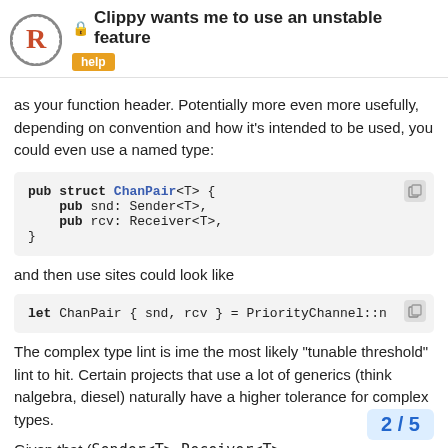Clippy wants me to use an unstable feature — help
as your function header. Potentially more even more usefully, depending on convention and how it's intended to be used, you could even use a named type:
pub struct ChanPair<T> {
    pub snd: Sender<T>,
    pub rcv: Receiver<T>,
}
and then use sites could look like
let ChanPair { snd, rcv } = PriorityChannel::n
The complex type lint is ime the most likely "tunable threshold" lint to hit. Certain projects that use a lot of generics (think nalgebra, diesel) naturally have a higher tolerance for complex types.
Given that (Sender<T>, Receiver<T>